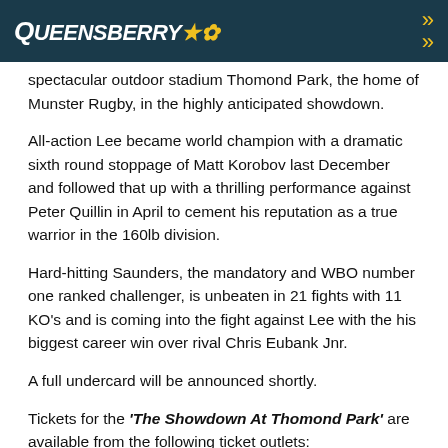Queensberry
spectacular outdoor stadium Thomond Park, the home of Munster Rugby, in the highly anticipated showdown.
All-action Lee became world champion with a dramatic sixth round stoppage of Matt Korobov last December and followed that up with a thrilling performance against Peter Quillin in April to cement his reputation as a true warrior in the 160lb division.
Hard-hitting Saunders, the mandatory and WBO number one ranked challenger, is unbeaten in 21 fights with 11 KO's and is coming into the fight against Lee with the his biggest career win over rival Chris Eubank Jnr.
A full undercard will be announced shortly.
Tickets for the 'The Showdown At Thomond Park' are available from the following ticket outlets:
EVENTIM